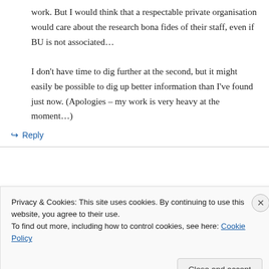work. But I would think that a respectable private organisation would care about the research bona fides of their staff, even if BU is not associated…
I don't have time to dig further at the second, but it might easily be possible to dig up better information than I've found just now. (Apologies – my work is very heavy at the moment…)
↪ Reply
Privacy & Cookies: This site uses cookies. By continuing to use this website, you agree to their use. To find out more, including how to control cookies, see here: Cookie Policy
Close and accept